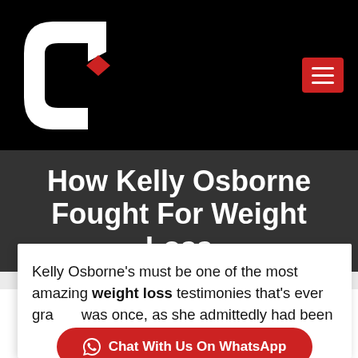[Figure (logo): White stylized 'cf' logo mark on black background with red diamond accent, top-left; red hamburger menu button top-right]
How Kelly Osborne Fought For Weight Loss
Kelly Osborne's must be one of the most amazing weight loss testimonies that's ever gra... was once, as she admittedly had been
Chat With Us On WhatsApp